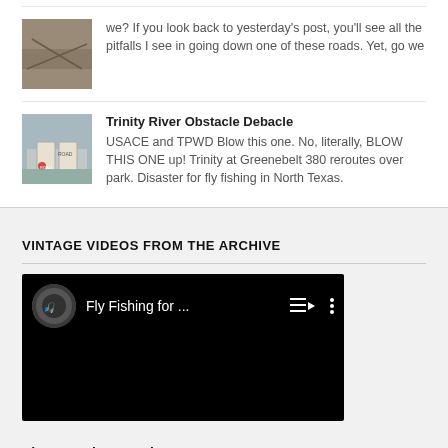we? If you look back to yesterday's post, you'll see all the pitfalls I see in going down one of these roads. Yet, go we
Trinity River Obstacle Debacle
USACE and TPWD Blow this one. No, literally, BLOW THIS ONE up! Trinity at Greenebelt 380 reroutes over park. Disaster for fly fishing in North Texas.
VINTAGE VIDEOS FROM THE ARCHIVE
[Figure (screenshot): YouTube video player showing 'Fly Fishing for ...' with playlist and more options icons on black background]
Photographer & Writer